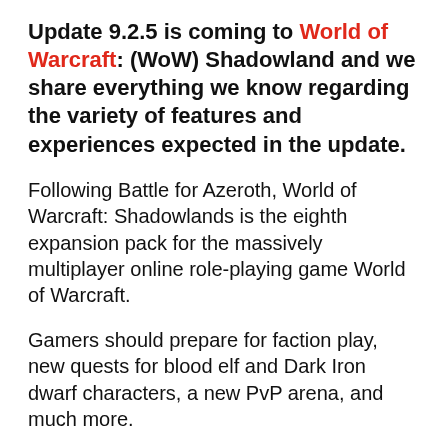Update 9.2.5 is coming to World of Warcraft: (WoW) Shadowland and we share everything we know regarding the variety of features and experiences expected in the update.
Following Battle for Azeroth, World of Warcraft: Shadowlands is the eighth expansion pack for the massively multiplayer online role-playing game World of Warcraft.
Gamers should prepare for faction play, new quests for blood elf and Dark Iron dwarf characters, a new PvP arena, and much more.
[Figure (photo): Dark grey/charcoal rectangular image placeholder at the bottom of the page]